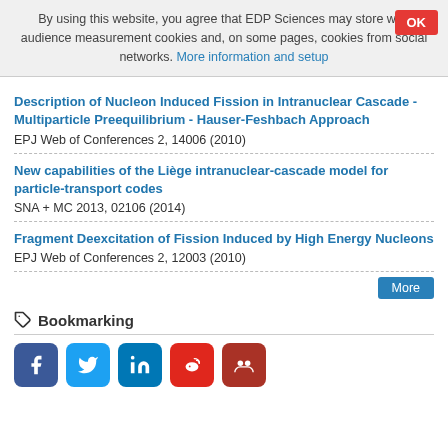By using this website, you agree that EDP Sciences may store web audience measurement cookies and, on some pages, cookies from social networks. More information and setup
Description of Nucleon Induced Fission in Intranuclear Cascade - Multiparticle Preequilibrium - Hauser-Feshbach Approach
EPJ Web of Conferences 2, 14006 (2010)
New capabilities of the Liège intranuclear-cascade model for particle-transport codes
SNA + MC 2013, 02106 (2014)
Fragment Deexcitation of Fission Induced by High Energy Nucleons
EPJ Web of Conferences 2, 12003 (2010)
Bookmarking